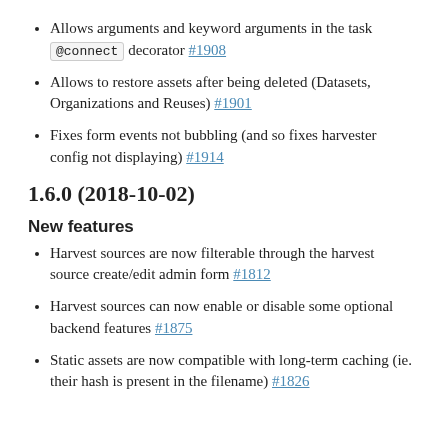Allows arguments and keyword arguments in the task @connect decorator #1908
Allows to restore assets after being deleted (Datasets, Organizations and Reuses) #1901
Fixes form events not bubbling (and so fixes harvester config not displaying) #1914
1.6.0 (2018-10-02)
New features
Harvest sources are now filterable through the harvest source create/edit admin form #1812
Harvest sources can now enable or disable some optional backend features #1875
Static assets are now compatible with long-term caching (ie. their hash is present in the filename) #1826